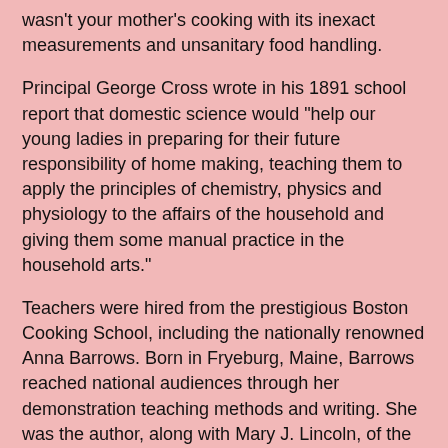wasn't your mother's cooking with its inexact measurements and unsanitary food handling.
Principal George Cross wrote in his 1891 school report that domestic science would "help our young ladies in preparing for their future responsibility of home making, teaching them to apply the principles of chemistry, physics and physiology to the affairs of the household and giving them some manual practice in the household arts."
Teachers were hired from the prestigious Boston Cooking School, including the nationally renowned Anna Barrows. Born in Fryeburg, Maine, Barrows reached national audiences through her demonstration teaching methods and writing. She was the author, along with Mary J. Lincoln, of the "Home Science Cook Book" and editor of the American Kitchen Magazine. But before she began writing in earnest, she split her time teaching between Exeter's Robinson Female Seminary and Auburndale's Lasell Seminary.
In her classes, girls were taught to cook with gas burners, not on wood or coal stoves. Burrows enthusiasm for gas